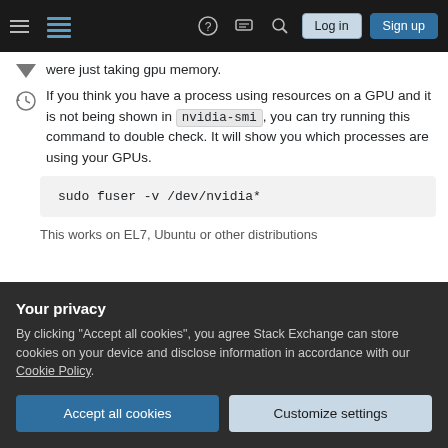Stack Exchange navigation bar with hamburger menu, logo, help, comments, search, Log in, Sign up buttons
were just taking gpu memory.
If you think you have a process using resources on a GPU and it is not being shown in nvidia-smi, you can try running this command to double check. It will show you which processes are using your GPUs.
This works on EL7, Ubuntu or other distributions
Your privacy
By clicking "Accept all cookies", you agree Stack Exchange can store cookies on your device and disclose information in accordance with our Cookie Policy.
Accept all cookies  Customize settings